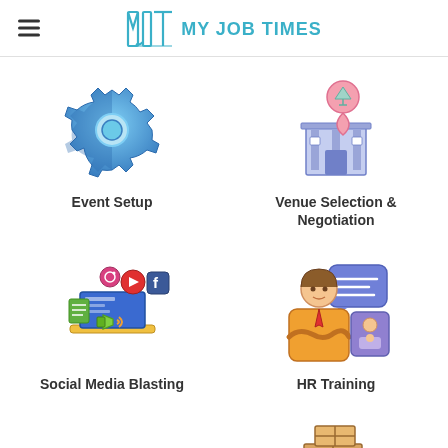MJT MY JOB TIMES
[Figure (illustration): Blue gear/settings icon representing Event Setup]
Event Setup
[Figure (illustration): Building with a pink location pin icon representing Venue Selection & Negotiation]
Venue Selection & Negotiation
[Figure (illustration): Social media icons with megaphone on laptop representing Social Media Blasting]
Social Media Blasting
[Figure (illustration): Person with chat bubbles and HR profile icon representing HR Training]
HR Training
[Figure (illustration): Red and yellow delivery truck with speed lines]
[Figure (illustration): Stacked brown cardboard boxes]